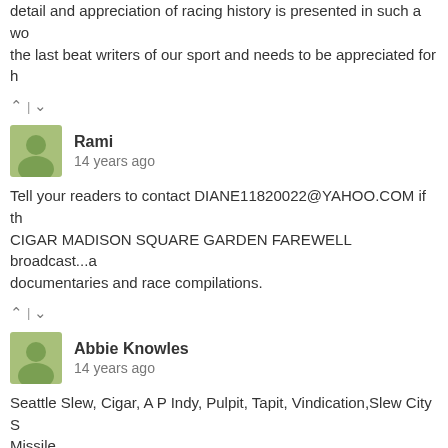detail and appreciation of racing history is presented in such a wo the last beat writers of our sport and needs to be appreciated for h
^ | v
Rami
14 years ago
Tell your readers to contact DIANE11820022@YAHOO.COM if th CIGAR MADISON SQUARE GARDEN FAREWELL broadcast...a documentaries and race compilations.
^ | v
Abbie Knowles
14 years ago
Seattle Slew, Cigar, A P Indy, Pulpit, Tapit, Vindication,Slew City S Missile,


"Funny", Slewacide et al rule OK!!!!!
^ | v
Fred Montreal